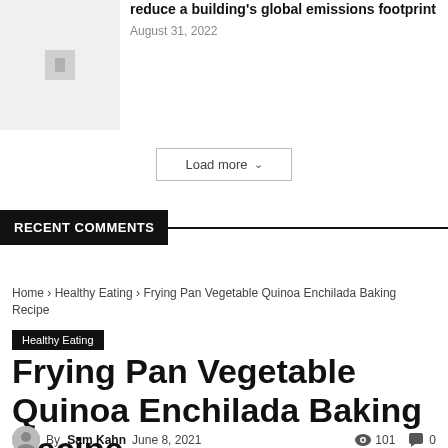[Figure (photo): Gray placeholder thumbnail image for article]
reduce a building's global emissions footprint
August 31, 2022
Load more
RECENT COMMENTS
Home › Healthy Eating › Frying Pan Vegetable Quinoa Enchilada Baking Recipe
Healthy Eating
Frying Pan Vegetable Quinoa Enchilada Baking Recipe
By Sam Kahn  June 8, 2021  101  0